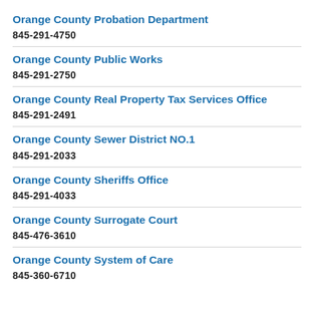Orange County Probation Department
845-291-4750
Orange County Public Works
845-291-2750
Orange County Real Property Tax Services Office
845-291-2491
Orange County Sewer District NO.1
845-291-2033
Orange County Sheriffs Office
845-291-4033
Orange County Surrogate Court
845-476-3610
Orange County System of Care
845-360-6710